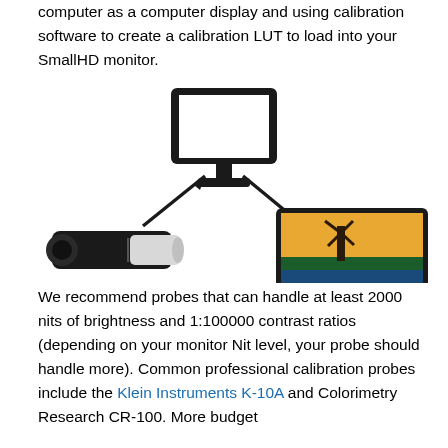computer as a computer display and using calibration software to create a calibration LUT to load into your SmallHD monitor.
[Figure (illustration): Diagram showing a colorimeter/probe (left) and a SmallHD monitor (right) both connected with arrows to a computer display (center top), illustrating the calibration workflow.]
We recommend probes that can handle at least 2000 nits of brightness and 1:100000 contrast ratios (depending on your monitor Nit level, your probe should handle more). Common professional calibration probes include the Klein Instruments K-10A and Colorimetry Research CR-100. More budget